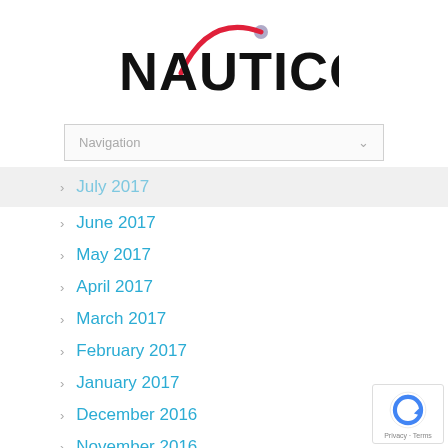[Figure (logo): Nauticomp logo with red arc and grey circle above bold black text NAUTICOMP]
Navigation
July 2017
June 2017
May 2017
April 2017
March 2017
February 2017
January 2017
December 2016
November 2016